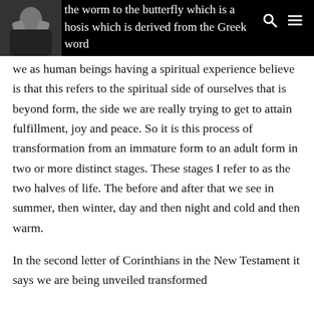[Figure (photo): Black and white profile photo of a person in the top-left corner of a dark header bar]
changes things from bad to better. It is about the ... the worm to the butterfly which is a ... hosis which is derived from the Greek word for transformation, really meaning after form. And what we as human beings having a spiritual experience believe is that this refers to the spiritual side of ourselves that is beyond form, the side we are really trying to get to attain  fulfillment, joy and peace. So it is this process of transformation from an immature form to an adult form in two or more distinct stages. These stages I refer to as the two halves of life. The before and after that we see in summer, then winter, day and then night and cold and then warm.
In the second letter of Corinthians in the New Testament it says we are being unveiled transformed